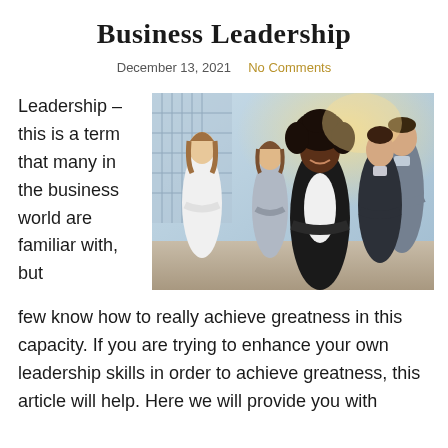Business Leadership
December 13, 2021   No Comments
Leadership – this is a term that many in the business world are familiar with, but
[Figure (photo): Group of business professionals posing confidently; a Black woman with natural hair in a blazer stands in the foreground with arms crossed and smiling, other professionals stand behind her in an office/lobby setting.]
few know how to really achieve greatness in this capacity. If you are trying to enhance your own leadership skills in order to achieve greatness, this article will help. Here we will provide you with